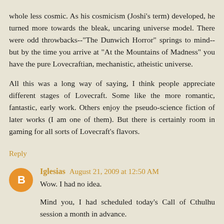whole less cosmic. As his cosmicism (Joshi's term) developed, he turned more towards the bleak, uncaring universe model. There were odd throwbacks--"The Dunwich Horror" springs to mind--but by the time you arrive at "At the Mountains of Madness" you have the pure Lovecraftian, mechanistic, atheistic universe.

All this was a long way of saying, I think people appreciate different stages of Lovecraft. Some like the more romantic, fantastic, early work. Others enjoy the pseudo-science fiction of later works (I am one of them). But there is certainly room in gaming for all sorts of Lovecraft's flavors.
Reply
Iglesias August 21, 2009 at 12:50 AM
Wow. I had no idea.

Mind you, I had scheduled today's Call of Cthulhu session a month in advance.

That's some funky synchronicity.